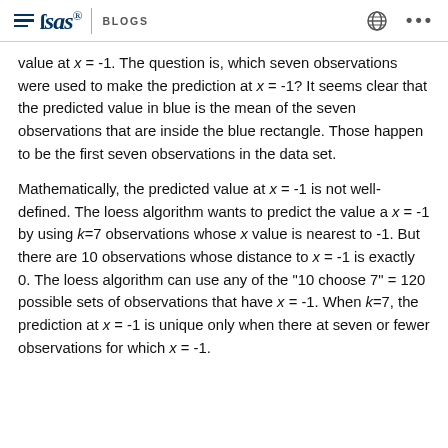SAS BLOGS
value at x = -1. The question is, which seven observations were used to make the prediction at x = -1? It seems clear that the predicted value in blue is the mean of the seven observations that are inside the blue rectangle. Those happen to be the first seven observations in the data set.
Mathematically, the predicted value at x = -1 is not well-defined. The loess algorithm wants to predict the value a x = -1 by using k=7 observations whose x value is nearest to -1. But there are 10 observations whose distance to x = -1 is exactly 0. The loess algorithm can use any of the "10 choose 7" = 120 possible sets of observations that have x = -1. When k=7, the prediction at x = -1 is unique only when there at seven or fewer observations for which x = -1.